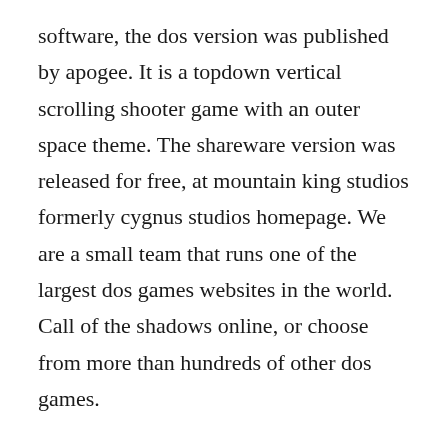software, the dos version was published by apogee. It is a topdown vertical scrolling shooter game with an outer space theme. The shareware version was released for free, at mountain king studios formerly cygnus studios homepage. We are a small team that runs one of the largest dos games websites in the world. Call of the shadows online, or choose from more than hundreds of other dos games.
In 1999, mountain king studios rereleased raptor as a native windows program. Call of